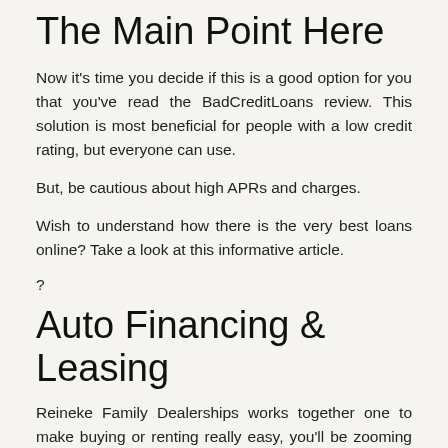The Main Point Here
Now it's time you decide if this is a good option for you that you've read the BadCreditLoans review. This solution is most beneficial for people with a low credit rating, but everyone can use.
But, be cautious about high APRs and charges.
Wish to understand how there is the very best loans online? Take a look at this informative article.
?
Auto Financing & Leasing
Reineke Family Dealerships works together one to make buying or renting really easy, you'll be zooming down in the new car straight away! Reineke Family Dealerships provides competitive prices, innovative services and products, versatile terms, and a system that is outstanding ...